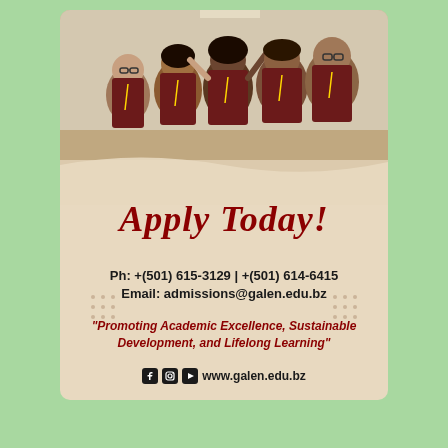[Figure (photo): Group photo of five university students in dark maroon/burgundy polo shirts with lanyards, smiling and posing in a hallway]
Apply Today!
Ph: +(501) 615-3129 | +(501) 614-6415
Email: admissions@galen.edu.bz
"Promoting Academic Excellence, Sustainable Development, and Lifelong Learning"
www.galen.edu.bz